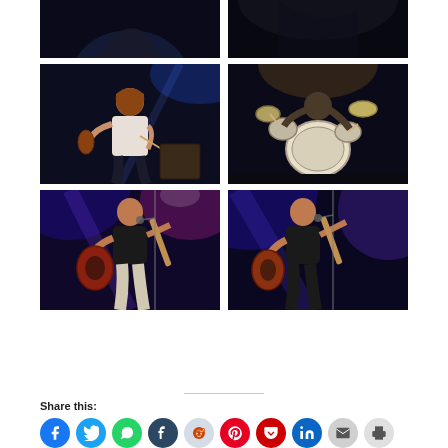[Figure (photo): Concert photo - partial view of musician playing instrument, dark stage with blue lighting, top row left]
[Figure (photo): Concert photo - partial view of performer on dark stage, top row right]
[Figure (photo): Concert photo - woman playing violin seated on stage with blue spotlight]
[Figure (photo): Concert photo - overhead view of drummer playing drum kit on stage]
[Figure (photo): Concert photo - man in black t-shirt playing acoustic guitar on stage with purple/pink lights]
[Figure (photo): Concert photo - man in black t-shirt playing acoustic guitar on stage with purple/blue lights]
Share this:
Facebook
Twitter
WhatsApp
Tumblr
Reddit
Pinterest
Pocket
LinkedIn
Email
Print